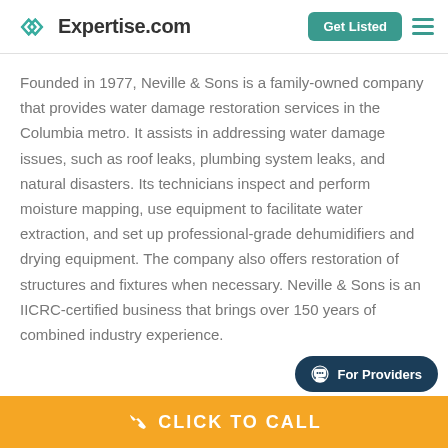Expertise.com — Get Listed
Founded in 1977, Neville & Sons is a family-owned company that provides water damage restoration services in the Columbia metro. It assists in addressing water damage issues, such as roof leaks, plumbing system leaks, and natural disasters. Its technicians inspect and perform moisture mapping, use equipment to facilitate water extraction, and set up professional-grade dehumidifiers and drying equipment. The company also offers restoration of structures and fixtures when necessary. Neville & Sons is an IICRC-certified business that brings over 150 years of combined industry experience.
For Providers
CLICK TO CALL